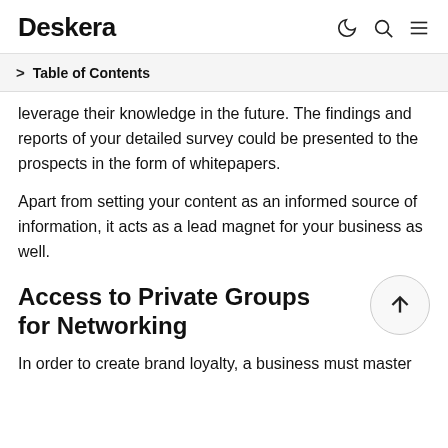Deskera
Table of Contents
leverage their knowledge in the future. The findings and reports of your detailed survey could be presented to the prospects in the form of whitepapers.
Apart from setting your content as an informed source of information, it acts as a lead magnet for your business as well.
Access to Private Groups for Networking
In order to create brand loyalty, a business must master